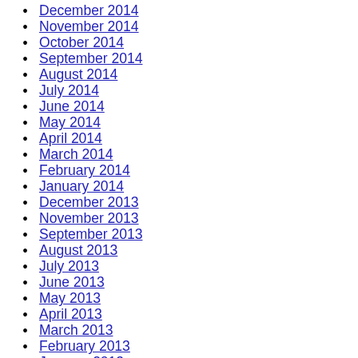December 2014
November 2014
October 2014
September 2014
August 2014
July 2014
June 2014
May 2014
April 2014
March 2014
February 2014
January 2014
December 2013
November 2013
September 2013
August 2013
July 2013
June 2013
May 2013
April 2013
March 2013
February 2013
January 2013
December 2012
November 2012